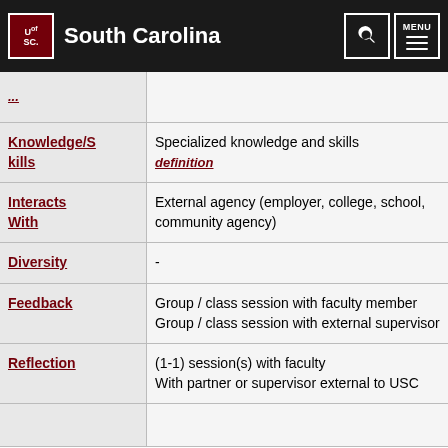University of South Carolina
| Category | Description |
| --- | --- |
| Knowledge/Skills | Specialized knowledge and skills definition |
| Interacts With | External agency (employer, college, school, community agency) |
| Diversity | - |
| Feedback | Group / class session with faculty member
Group / class session with external supervisor |
| Reflection | (1-1) session(s) with faculty
With partner or supervisor external to USC |